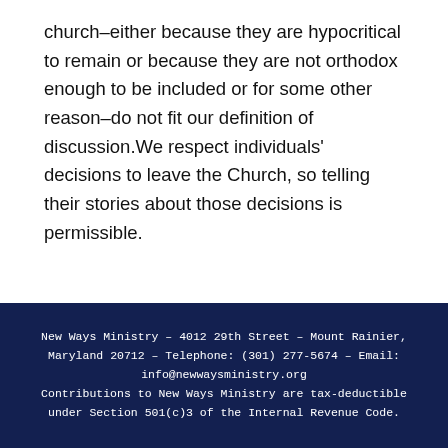church–either because they are hypocritical to remain or because they are not orthodox enough to be included or for some other reason–do not fit our definition of discussion.We respect individuals' decisions to leave the Church, so telling their stories about those decisions is permissible.
New Ways Ministry – 4012 29th Street – Mount Rainier, Maryland 20712 – Telephone: (301) 277-5674 – Email: info@newwaysministry.org Contributions to New Ways Ministry are tax-deductible under Section 501(c)3 of the Internal Revenue Code.